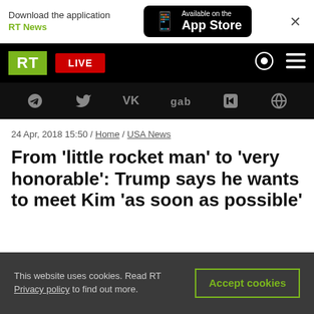[Figure (screenshot): App Store download banner with RT News app promotion and Available on the App Store button]
[Figure (screenshot): RT (Russia Today) navigation bar with green RT logo, red LIVE button, search and menu icons]
[Figure (screenshot): Social media icons bar showing Telegram, Twitter, VK, gab, Rumble, and globe icon on black background]
24 Apr, 2018 15:50 / Home / USA News
From ‘little rocket man’ to ‘very honorable’: Trump says he wants to meet Kim ‘as soon as possible’
This website uses cookies. Read RT Privacy policy to find out more.